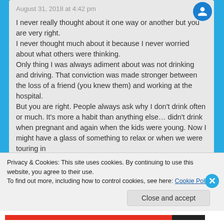August 31, 2018 at 4:42 pm
I never really thought about it one way or another but you are very right.
I never thought much about it because I never worried about what others were thinking.
Only thing I was always adiment about was not drinking and driving. That conviction was made stronger between the loss of a friend (you knew them) and working at the hospital.
But you are right. People always ask why I don't drink often or much. It's more a habit than anything else… didn't drink when pregnant and again when the kids were young. Now I might have a glass of something to relax or when we were touring in
Privacy & Cookies: This site uses cookies. By continuing to use this website, you agree to their use.
To find out more, including how to control cookies, see here: Cookie Policy
Close and accept